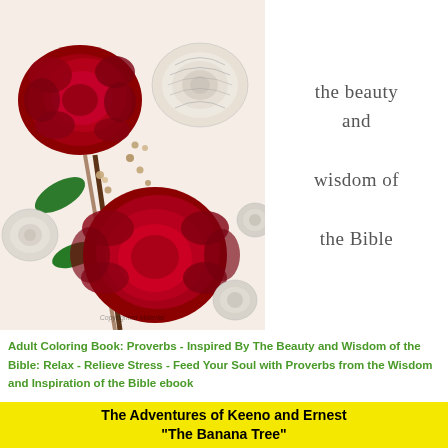[Figure (illustration): Illustration of red and white roses with stems, leaves, and decorative pearl-like elements — some roses fully colored in red/green, others in pencil sketch style. Appears to be from an adult coloring book.]
the beauty and wisdom of the Bible
Adult Coloring Book: Proverbs - Inspired By The Beauty and Wisdom of the Bible: Relax - Relieve Stress - Feed Your Soul with Proverbs from the Wisdom and Inspiration of the Bible ebook
The Adventures of Keeno and Ernest "The Banana Tree"